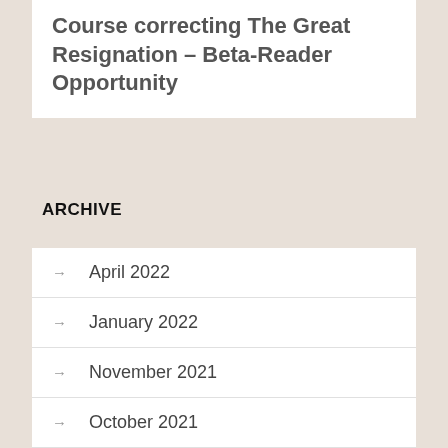Course correcting The Great Resignation – Beta-Reader Opportunity
ARCHIVE
April 2022
January 2022
November 2021
October 2021
September 2021
June 2021